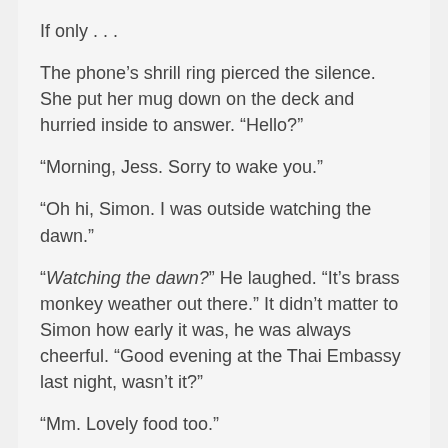If only . . .
The phone's shrill ring pierced the silence. She put her mug down on the deck and hurried inside to answer. “Hello?”
“Morning, Jess. Sorry to wake you.”
“Oh hi, Simon. I was outside watching the dawn.”
“Watching the dawn?” He laughed. “It’s brass monkey weather out there.” It didn’t matter to Simon how early it was, he was always cheerful. “Good evening at the Thai Embassy last night, wasn’t it?”
“Mm. Lovely food too.”
There was a pause.